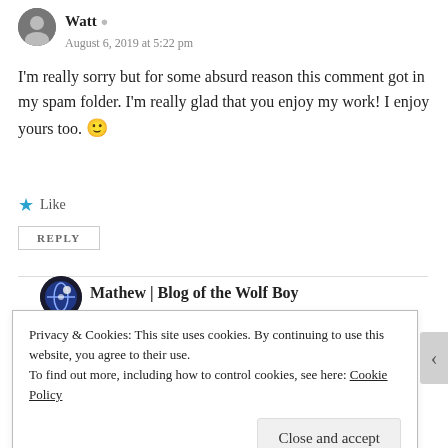[Figure (photo): Avatar photo of user Watt — small circular grayscale portrait]
Watt
August 6, 2019 at 5:22 pm
I'm really sorry but for some absurd reason this comment got in my spam folder. I'm really glad that you enjoy my work! I enjoy yours too. 🙂
Like
REPLY
[Figure (photo): Avatar icon of user Mathew | Blog of the Wolf Boy — globe/wolf icon]
Mathew | Blog of the Wolf Boy
Privacy & Cookies: This site uses cookies. By continuing to use this website, you agree to their use.
To find out more, including how to control cookies, see here: Cookie Policy
Close and accept